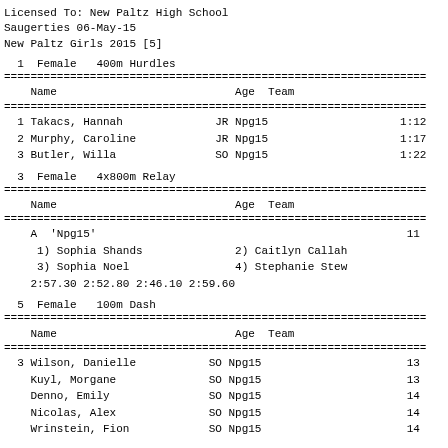Licensed To: New Paltz High School
                        Saugerties  06-May-15
                     New Paltz Girls 2015 [5]
1  Female   400m Hurdles
| Name | Age | Team | Result |
| --- | --- | --- | --- |
| 1 Takacs, Hannah | JR | Npg15 | 1:12 |
| 2 Murphy, Caroline | JR | Npg15 | 1:17 |
| 3 Butler, Willa | SO | Npg15 | 1:22 |
3  Female   4x800m Relay
| Name | Age | Team | Result |
| --- | --- | --- | --- |
| A 'Npg15' |  |  | 11 |
| 1) Sophia Shands |  | 2) Caitlyn Callah |  |
| 3) Sophia Noel |  | 4) Stephanie Stew |  |
| 2:57.30 2:52.80 2:46.10 2:59.60 |  |  |  |
5  Female   100m Dash
| Name | Age | Team | Result |
| --- | --- | --- | --- |
| 3 Wilson, Danielle | SO | Npg15 | 13 |
| Kuyl, Morgane | SO | Npg15 | 13 |
| Denno, Emily | SO | Npg15 | 14 |
| Nicolas, Alex | SO | Npg15 | 14 |
| Wrinstein, Fion | SO | Npg15 | 14 |